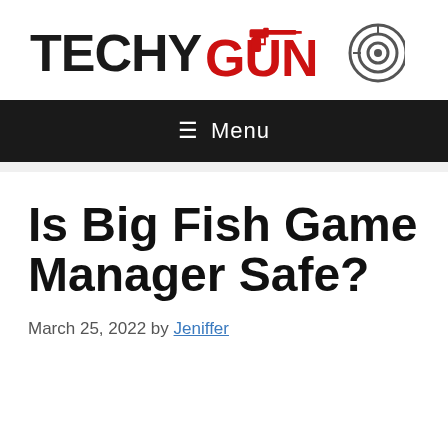[Figure (logo): TechyGUN website logo with 'TECHY' in black bold text and 'GUN' in red bold text, with a red pistol icon above and a target/bullseye icon to the right]
≡ Menu
Is Big Fish Game Manager Safe?
March 25, 2022 by Jeniffer